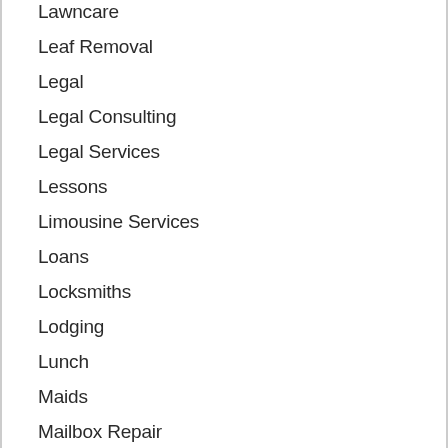Lawncare
Leaf Removal
Legal
Legal Consulting
Legal Services
Lessons
Limousine Services
Loans
Locksmiths
Lodging
Lunch
Maids
Mailbox Repair
Manufacturing
Marina
Marketing